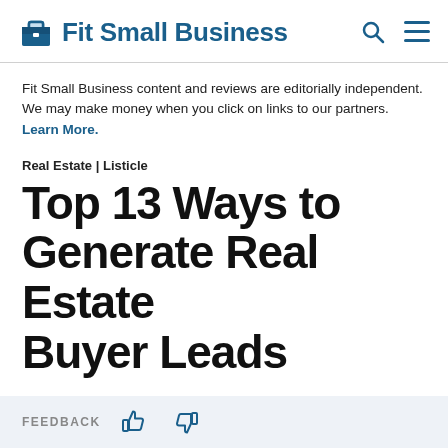Fit Small Business
Fit Small Business content and reviews are editorially independent. We may make money when you click on links to our partners. Learn More.
Real Estate | Listicle
Top 13 Ways to Generate Real Estate Buyer Leads
FEEDBACK